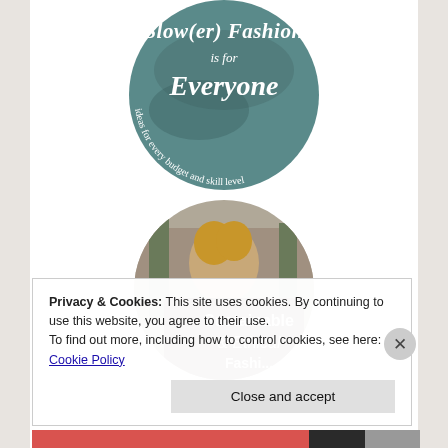[Figure (illustration): Circular badge/logo image with teal background showing text: 'Slow(er) Fashion is for Everyone — ideas for every budget and skill level']
[Figure (photo): Circular profile photo of a curly-haired woman holding a dark textile/fabric roll with text overlay reading 'Sustainable & Ethical Fashi...']
Privacy & Cookies: This site uses cookies. By continuing to use this website, you agree to their use.
To find out more, including how to control cookies, see here: Cookie Policy
Close and accept